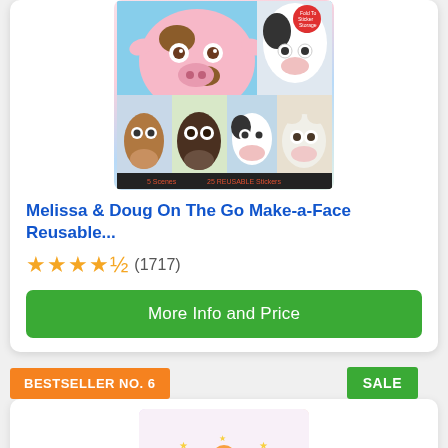[Figure (photo): Product image of Melissa & Doug On The Go Make-a-Face Reusable Sticker Book with farm animals including cow, horse, and sheep faces]
Melissa & Doug On The Go Make-a-Face Reusable...
★★★★½ (1717)
More Info and Price
BESTSELLER NO. 6
SALE
[Figure (photo): Product image partially visible at bottom of page, appears to be another Melissa & Doug sticker book with rainbow design]